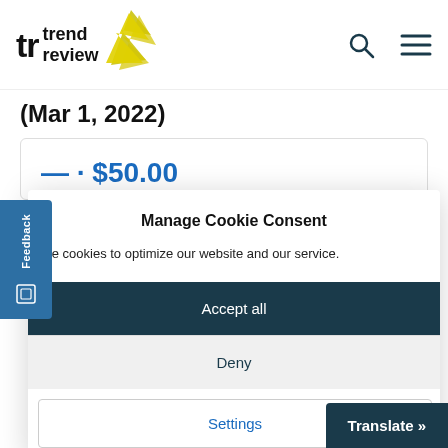[Figure (logo): Trend Review logo with yellow star graphic and 'tr' text mark]
(Mar 1, 2022)
$50.00 (partially visible)
Feedback
Manage Cookie Consent
use cookies to optimize our website and our service.
Accept all
Deny
Settings
Translate »